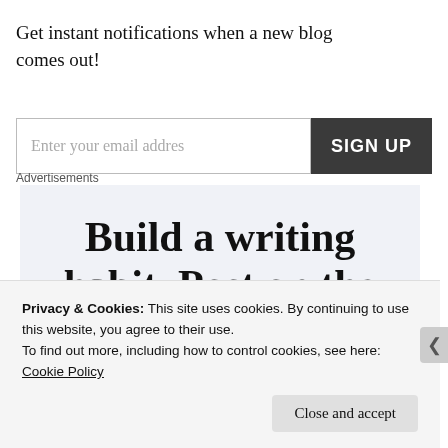Get instant notifications when a new blog comes out!
Enter your email addres
SIGN UP
Advertisements
[Figure (other): Advertisement banner with text: Build a writing habit. Post on the go.]
Privacy & Cookies: This site uses cookies. By continuing to use this website, you agree to their use.
To find out more, including how to control cookies, see here: Cookie Policy
Close and accept